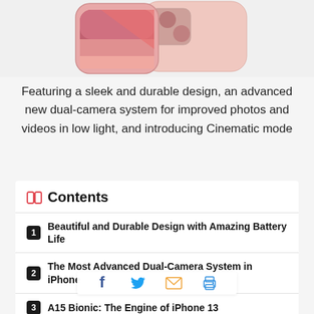[Figure (photo): Pink iPhone 13 device shown from front/back angle at top of page]
Featuring a sleek and durable design, an advanced new dual-camera system for improved photos and videos in low light, and introducing Cinematic mode
Contents
1 Beautiful and Durable Design with Amazing Battery Life
2 The Most Advanced Dual-Camera System in iPhone
3 A15 Bionic: The Engine of iPhone 13
4 5G Experience
5 Featuring iOS 15